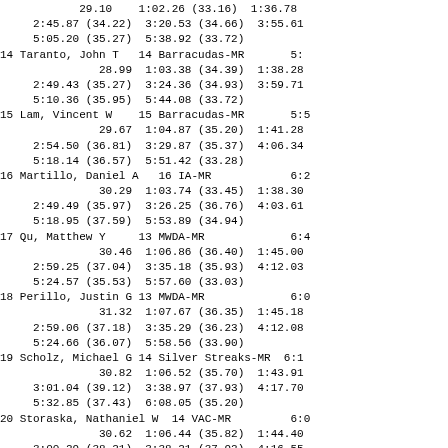|  | 29.10 | 1:02.26 (33.16) | 1:36.78 |
|  | 2:45.87 (34.22) | 3:20.53 (34.66) | 3:55.61 |
|  | 5:05.20 (35.27) | 5:38.92 (33.72) |  |
| 14 Taranto, John T |  | 14 Barracudas-MR | 5: |
|  | 28.99 | 1:03.38 (34.39) | 1:38.28 |
|  | 2:49.43 (35.27) | 3:24.36 (34.93) | 3:59.71 |
|  | 5:10.36 (35.95) | 5:44.08 (33.72) |  |
| 15 Lam, Vincent W |  | 15 Barracudas-MR | 5:5 |
|  | 29.67 | 1:04.87 (35.20) | 1:41.28 |
|  | 2:54.50 (36.81) | 3:29.87 (35.37) | 4:06.34 |
|  | 5:18.14 (36.57) | 5:51.42 (33.28) |  |
| 16 Martillo, Daniel A |  | 16 IA-MR | 6:2 |
|  | 30.29 | 1:03.74 (33.45) | 1:38.30 |
|  | 2:49.49 (35.97) | 3:26.25 (36.76) | 4:03.61 |
|  | 5:18.95 (37.59) | 5:53.89 (34.94) |  |
| 17 Qu, Matthew Y |  | 13 MWDA-MR | 6:4 |
|  | 30.46 | 1:06.86 (36.40) | 1:45.00 |
|  | 2:59.25 (37.04) | 3:35.18 (35.93) | 4:12.03 |
|  | 5:24.57 (35.53) | 5:57.60 (33.03) |  |
| 18 Perillo, Justin G |  | 13 MWDA-MR | 6:0 |
|  | 31.32 | 1:07.67 (36.35) | 1:45.18 |
|  | 2:59.06 (37.18) | 3:35.29 (36.23) | 4:12.08 |
|  | 5:24.66 (36.07) | 5:58.56 (33.90) |  |
| 19 Scholz, Michael G |  | 14 Silver Streaks-MR | 6:1 |
|  | 30.82 | 1:06.52 (35.70) | 1:43.91 |
|  | 3:01.04 (39.12) | 3:38.97 (37.93) | 4:17.70 |
|  | 5:32.85 (37.43) | 6:08.05 (35.20) |  |
| 20 Storaska, Nathaniel W |  | 14 VAC-MR | 6:0 |
|  | 30.62 | 1:06.44 (35.82) | 1:44.40 |
|  | 3:00.29 (38.21) | 3:38.21 (37.92) | 4:16.55 |
|  | 5:33.09 (37.99) | 6:08.99 (35.90) |  |